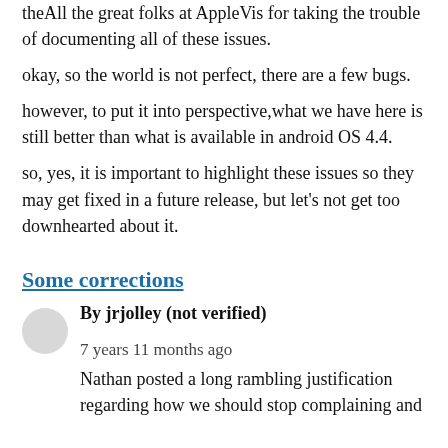theAll the great folks at AppleVis for taking the trouble of documenting all of these issues.
okay, so the world is not perfect, there are a few bugs.
however, to put it into perspective,what we have here is still better than what is available in android OS 4.4.
so, yes, it is important to highlight these issues so they may get fixed in a future release, but let's not get too downhearted about it.
Some corrections
By jrjolley (not verified)   7 years 11 months ago
Nathan posted a long rambling justification regarding how we should stop complaining and